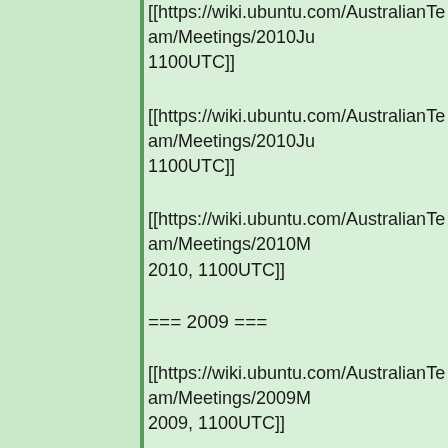[[https://wiki.ubuntu.com/AustralianTeam/Meetings/2010Ju 1100UTC]]
[[https://wiki.ubuntu.com/AustralianTeam/Meetings/2010Ju 1100UTC]]
[[https://wiki.ubuntu.com/AustralianTeam/Meetings/2010M 2010, 1100UTC]]
=== 2009 ===
[[https://wiki.ubuntu.com/AustralianTeam/Meetings/2009M 2009, 1100UTC]]
=== 2008 ===
[[https://wiki.ubuntu.com/AustralianTeam/Meetings/2008M 2008, 1000UTC]]
[[https://wiki.ubuntu.com/AustralianTeam/Meetings/2008Fe 1000UTC]]